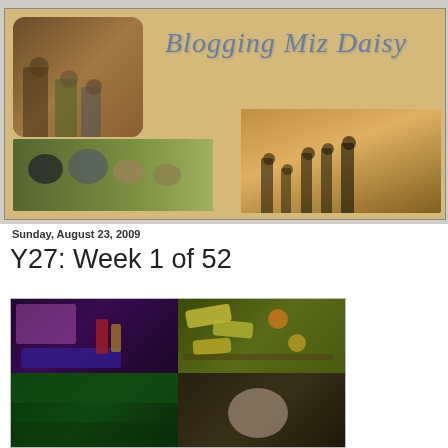[Figure (photo): Blog header banner for 'Blogging Miz Daisy' with tan/wheat background. Contains a photo of three children in a field (top left), a photo of chickens on gravel (bottom left), a photo of a family walking in a golden field (right side), and the blog title text 'Blogging Miz Daisy' in stylized italic script.]
Sunday, August 23, 2009
Y27: Week 1 of 52
[Figure (photo): A 2x2 photo collage grid. Top left: person at illuminated gaming/toy device in dark colorful setting. Top right: food items (vegetables/appetizers) on a grill or tray. Bottom left: green outdoor scene, partially visible. Bottom right: animal or outdoor scene, partially visible.]